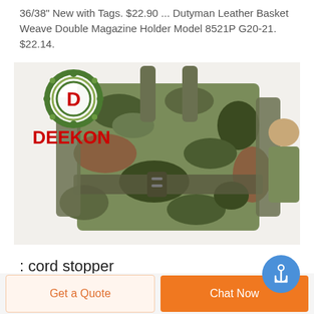36/38" New with Tags. $22.90 ... Dutyman Leather Basket Weave Double Magazine Holder Model 8521P G20-21. $22.14.
[Figure (photo): DEEKON branded camouflage military backpack with logo showing a red D in a circular green camouflage target design and red DEEKON text]
: cord stopper
Get a Quote | Chat Now